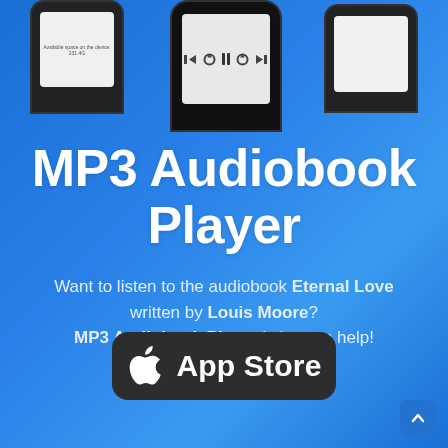[Figure (illustration): Three smartphone screenshots showing an MP3 audiobook player app interface at the top of the page on a blue gradient background]
MP3 Audiobook Player
Want to listen to the audiobook Eternal Love written by Louis Moore? MP3 Audiobook Player is here to help!
[Figure (logo): App Store download button — dark rounded rectangle with Apple logo and 'App Store' text in white]